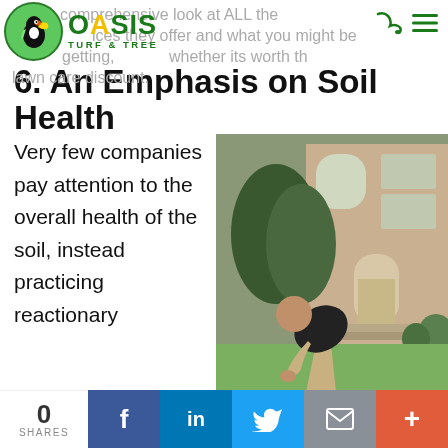take a comprehensive look at ALL the services they offer and what you might be getting, whether its worth the lawn care discount.
[Figure (logo): Oasis Turf & Tree logo with green circle, toucan bird, and green text]
6. An Emphasis on Soil Health
Very few companies pay attention to the overall health of the soil, instead practicing reactionary
[Figure (photo): Man in black shirt bending over lawn in front of brick house]
0 SHARES | Facebook | LinkedIn | Twitter | Email | +